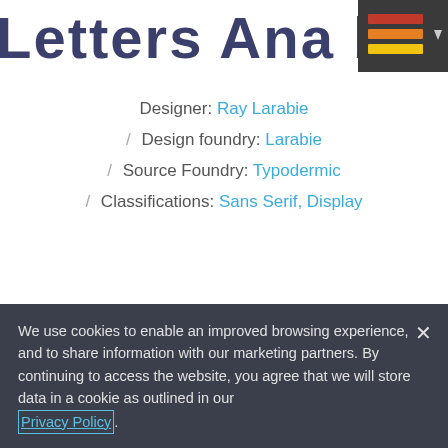Letters Ana bt
[Figure (logo): Hamburger menu icon with dark background, red and yellow horizontal bars, and a dropdown arrow]
Designer: Ray Larabie
/ Design foundry: Larabie
/ Source Foundry: Typodermic
/ Classifications: Sans Serif, Display
Buy from $0
View Family
T Select Font Format   ★ Add to Wish List
We use cookies to enable an improved browsing experience, and to share information with our marketing partners. By continuing to access the website, you agree that we will store data in a cookie as outlined in our Privacy Policy.